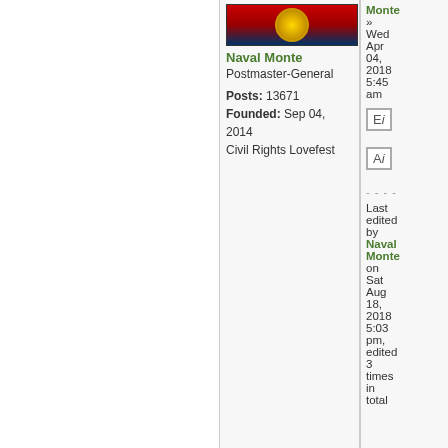[Figure (illustration): User avatar image with red and dark blue background and gold emblem/seal]
Naval Monte
Postmaster-General
Posts: 13671
Founded: Sep 04, 2014
Civil Rights Lovefest
Monte
» Wed Apr 04, 2018 5:45 am
El
Al
- - - -
Last edited by Naval Monte on Sat Aug 18, 2018 5:03 pm, edited 3 times in total